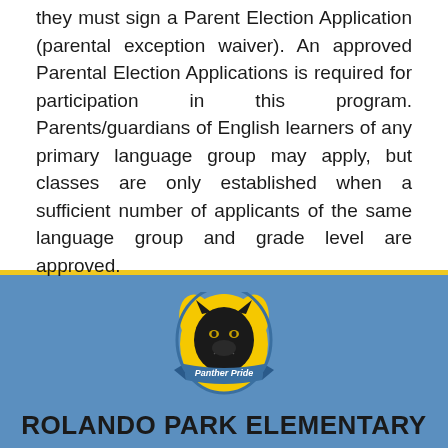they must sign a Parent Election Application (parental exception waiver). An approved Parental Election Applications is required for participation in this program. Parents/guardians of English learners of any primary language group may apply, but classes are only established when a sufficient number of applicants of the same language group and grade level are approved.
[Figure (logo): Panther Pride mascot logo — black panther head with yellow flame/paw background and blue ribbon banner reading 'Panther Pride']
ROLANDO PARK ELEMENTARY